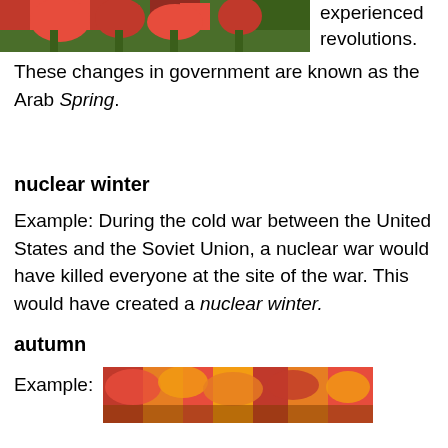[Figure (photo): Photo of red tulips with green leaves, partially visible at top of page]
experienced revolutions.
These changes in government are known as the Arab Spring.
nuclear winter
Example: During the cold war between the United States and the Soviet Union, a nuclear war would have killed everyone at the site of the war. This would have created a nuclear winter.
autumn
Example:
[Figure (photo): Photo of autumn leaves in red, orange, and yellow colors]